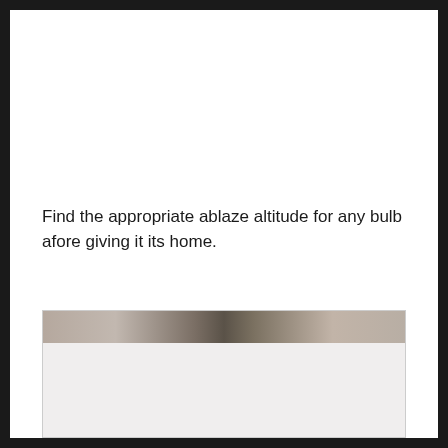Find the appropriate ablaze altitude for any bulb afore giving it its home.
[Figure (photo): A partially visible photograph showing a narrow horizontal strip with what appears to be a dark figure or silhouette against a warm, beige/tan background. The lower portion of the image area is a light gray/off-white color.]